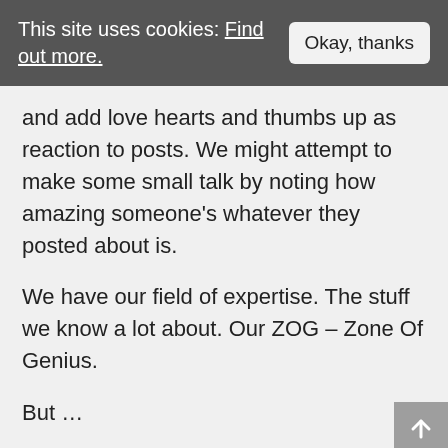This site uses cookies: Find out more. [Okay, thanks]
and add love hearts and thumbs up as reaction to posts. We might attempt to make some small talk by noting how amazing someone's whatever they posted about is.
We have our field of expertise. The stuff we know a lot about. Our ZOG – Zone Of Genius.
But ...
When members of the group ask for advice or input in that are, we hide. We know we could help. We could give helpful advice. Instead we keep scrolling to the next post. We add almost meaningless comments of